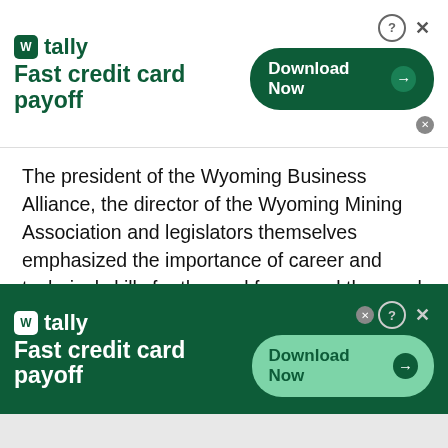[Figure (other): Tally 'Fast credit card payoff' advertisement banner at top with Download Now button]
The president of the Wyoming Business Alliance, the director of the Wyoming Mining Association and legislators themselves emphasized the importance of career and technical skills for the workforce, and the need for funding.
“We need all levels of educated folks to power our state,” said Cindy Delancey, WBA president. “We need those petroleum engineers, but we also need our plumbers, electricians, welders and carpenters, and all the wonderful skills that the
[Figure (other): Tally 'Fast credit card payoff' advertisement banner at bottom with Download Now button on dark green background]